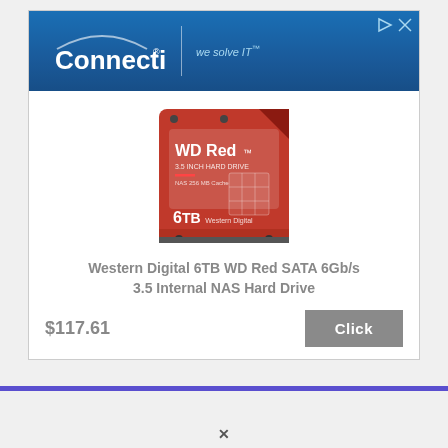[Figure (logo): Connection brand logo with blue gradient header showing 'Connection' text and 'we solve IT' tagline with arc graphic above the text]
[Figure (photo): WD Red 6TB 3.5-inch internal NAS hard drive product photo showing the red hard disk drive with Western Digital branding]
Western Digital 6TB WD Red SATA 6Gb/s 3.5 Internal NAS Hard Drive
$117.61
Click